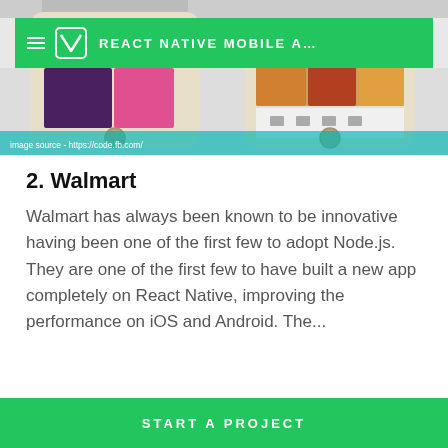[Figure (screenshot): Screenshot of a React Native Mobile App tutorial page showing two phone mockups displaying food/ingredient images, with a green navigation bar containing a hamburger menu, a V-shaped logo, and the title 'REACT NATIVE MOBILE A...']
image source - https://code.fb.com/
2. Walmart
Walmart has always been known to be innovative having been one of the first few to adopt Node.js. They are one of the first few to have built a new app completely on React Native, improving the performance on iOS and Android. The...
START A PROJECT